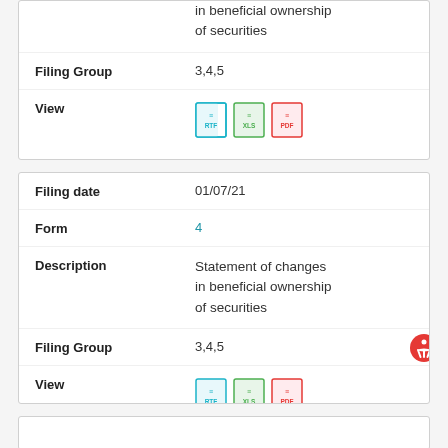| Field | Value |
| --- | --- |
| Description | in beneficial ownership of securities |
| Filing Group | 3,4,5 |
| View | [RTF] [XLS] [PDF] |
| Field | Value |
| --- | --- |
| Filing date | 01/07/21 |
| Form | 4 |
| Description | Statement of changes in beneficial ownership of securities |
| Filing Group | 3,4,5 |
| View | [RTF] [XLS] [PDF] |